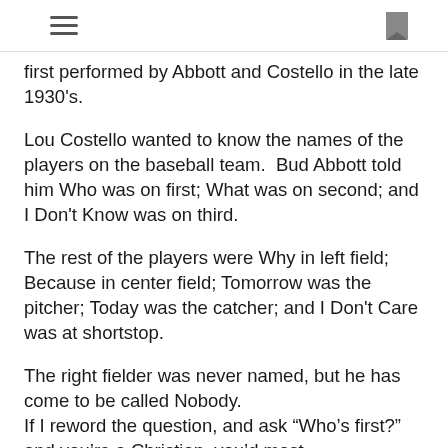first performed by Abbott and Costello in the late 1930's.
Lou Costello wanted to know the names of the players on the baseball team.  Bud Abbott told him Who was on first; What was on second; and I Don't Know was on third.
The rest of the players were Why in left field; Because in center field; Tomorrow was the pitcher; Today was the catcher; and I Don't Care was at shortstop.
The right fielder was never named, but he has come to be called Nobody.
If I reword the question, and ask “Who's first?” and you’re a Christian, you'd most